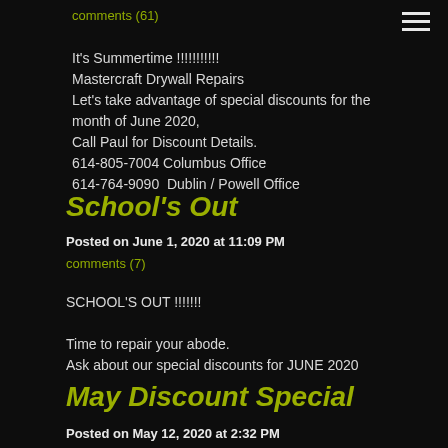comments (61)
It's Summertime !!!!!!!!!!!
Mastercraft Drywall Repairs
Let's take advantage of special discounts for the month of June 2020,
Call Paul for Discount Details.
614-805-7004 Columbus Office
614-764-9090  Dublin / Powell Office
School's Out
Posted on June 1, 2020 at 11:09 PM
comments (7)
SCHOOL'S OUT  !!!!!!!

Time to repair your abode.
Ask about our special discounts for JUNE 2020
May Discount Special
Posted on May 12, 2020 at 2:32 PM